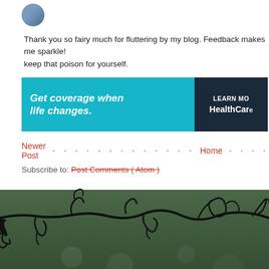[Figure (photo): Circular avatar/profile photo partially visible at top left]
Thank you so fairy much for fluttering by my blog. Feedback makes me sparkle! keep that poison for yourself.
[Figure (infographic): HealthCare.gov advertisement banner: 'Get coverage when life changes.' with LEARN MORE button]
Newer Post . . . . . . . . . . . . . . . . . . Home . . . . . . . . . . .
Subscribe to: Post Comments ( Atom )
[Figure (illustration): Decorative black vine/branch silhouette illustration on dark green background]
DISCLAIMER: Art blog contains paid